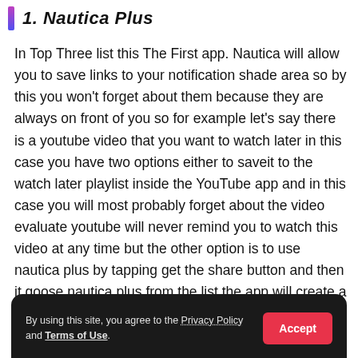1. Nautica Plus
In Top Three list this The First app. Nautica will allow you to save links to your notification shade area so by this you won't forget about them because they are always on front of you so for example let's say there is a youtube video that you want to watch later in this case you have two options either to saveit to the watch later playlist inside the YouTube app and in this case you will most probably forget about the video evaluate youtube will never remind you to watch this video at any time but the other option is to use nautica plus by tapping get the share button and then it goose nautica plus from the list the app will create a notification for you once you swipe up this notification will stay in your notification shade so when it's time to watch the video tap
By using this site, you agree to the Privacy Policy and Terms of Use.